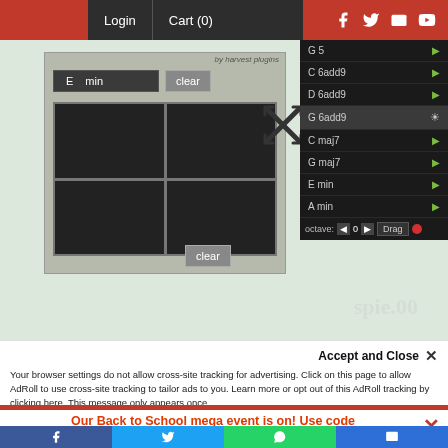Login  Cart (0)
[Figure (screenshot): Screenshot of a web page showing a music plugin UI (harvest plugins chord pad) with a dark chord list panel showing G5, C6add9, D6add9, G6add9, C maj7, G maj7, E min, A min, and an octave control row. The main panel shows a key selector (E min), clear button, and a 2x2 dark grid pad with an X expand icon.]
Your browser settings do not allow cross-site tracking for advertising. Click on this page to allow AdRoll to use cross-site tracking to tailor ads to you. Learn more or opt out of this AdRoll tracking by clicking here. This message only appears once.
Accept and Close ✕
Our Back to School mega event is on! Use code APD-BACK2SCHOOL22 at checkout to get 15% off...